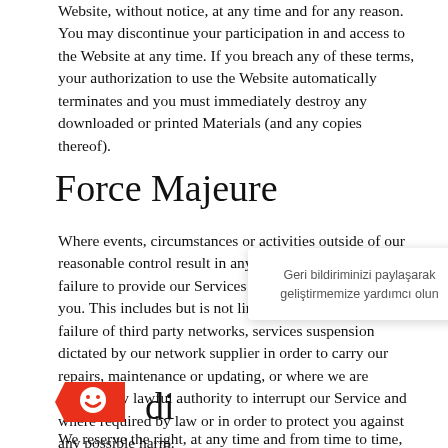Website, without notice, at any time and for any reason. You may discontinue your participation in and access to the Website at any time. If you breach any of these terms, your authorization to use the Website automatically terminates and you must immediately destroy any downloaded or printed Materials (and any copies thereof).
Force Majeure
Where events, circumstances or activities outside of our reasonable control result in any delay, interruption or failure to provide our Services to you, we are not liable to you. This includes but is not limited to: network failure, failure of third party networks, services suspension dictated by our network supplier in order to carry our repairs, maintenance or updating, or where we are required by lawful authority to interrupt our Service and where required by law or in order to protect you against any possible harm.
[Figure (logo): Partial red mascot/logo icon visible at bottom left]
[Figure (other): Popup dialog with close button (x) showing Turkish text: 'Geri bildiriminizi paylaşarak geliştirmemize yardımcı olun']
We reserve the right, at any time and from time to time, to